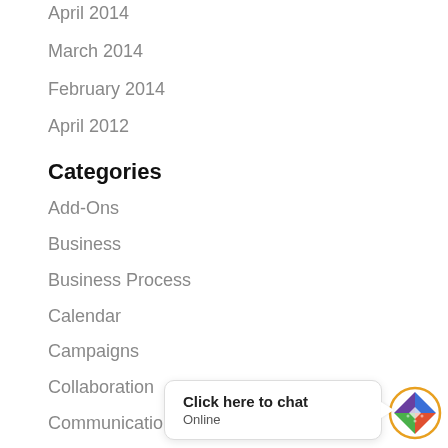April 2014
March 2014
February 2014
April 2012
Categories
Add-Ons
Business
Business Process
Calendar
Campaigns
Collaboration
Communication
Conversion
[Figure (other): Live chat widget with speech bubble saying 'Click here to chat / Online' and a colorful diamond logo icon with orange circle border]